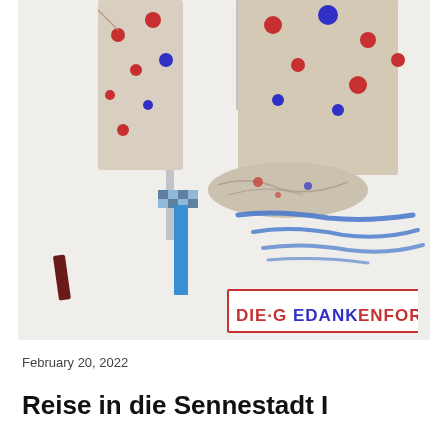[Figure (photo): An artwork installation photograph showing clothing items (shirts/garments with red and blue polka dots) hanging on a metal rack/ladder against a white wall. Blue brushstroke marks are visible on the wall. A crumpled polka dot garment rests on a shelf. A maroon/dark red rectangular piece is on the left side. A rectangular label or sign in the lower right reads 'DIE GEDANKENFORM' in red and blue hand-lettered text on a white background with a red border.]
February 20, 2022
Reise in die Sennestadt I